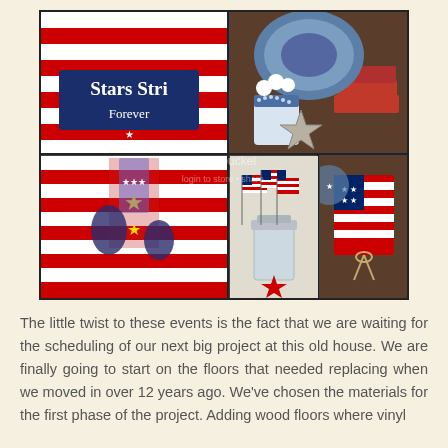[Figure (photo): A collage of five patriotic/Fourth of July themed photos: top-left shows a 'Stars Stripes Forever' sign on a red-and-white striped table runner; top-right shows a metal barn star, blue and white flower mug, and books on a dark wood shelf; bottom-left shows red and white stripes with small star ornaments; bottom-center shows a mason jar with American flags; bottom-right shows a hand-painted flag decoration card with twine. A 'photobucket' watermark overlays the collage.]
The little twist to these events is the fact that we are waiting for the scheduling of our next big project at this old house. We are finally going to start on the floors that needed replacing when we moved in over 12 years ago. We've chosen the materials for the first phase of the project. Adding wood floors where vinyl